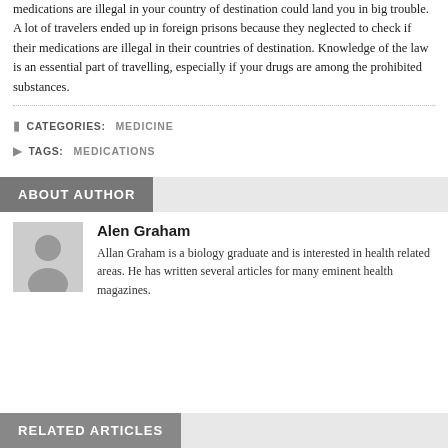medications are illegal in your country of destination could land you in big trouble. A lot of travelers ended up in foreign prisons because they neglected to check if their medications are illegal in their countries of destination. Knowledge of the law is an essential part of travelling, especially if your drugs are among the prohibited substances.
CATEGORIES:   MEDICINE
TAGS:   MEDICATIONS
ABOUT AUTHOR
[Figure (illustration): Gray silhouette avatar of a person]
Alen Graham
Allan Graham is a biology graduate and is interested in health related areas. He has written several articles for many eminent health magazines.
RELATED ARTICLES